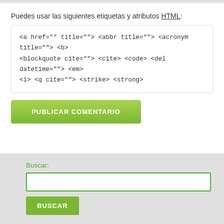Puedes usar las siguientes etiquetas y atributos HTML:
<a href="" title=""> <abbr title=""> <acronym title=""> <b> <blockquote cite=""> <cite> <code> <del datetime=""> <em> <i> <q cite=""> <strike> <strong>
PUBLICAR COMENTARIO
Buscar:
BUSCAR